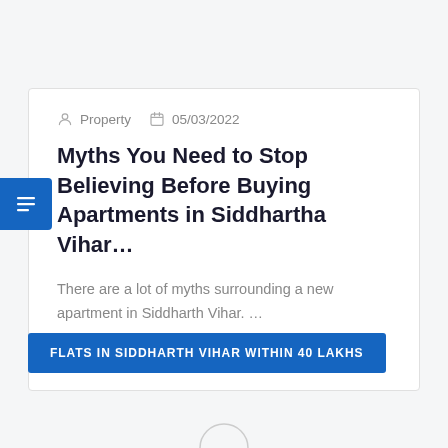Property   05/03/2022
Myths You Need to Stop Believing Before Buying Apartments in Siddhartha Vihar…
There are a lot of myths surrounding a new apartment in Siddharth Vihar. …
READ MORE
FLATS IN SIDDHARTH VIHAR WITHIN 40 LAKHS